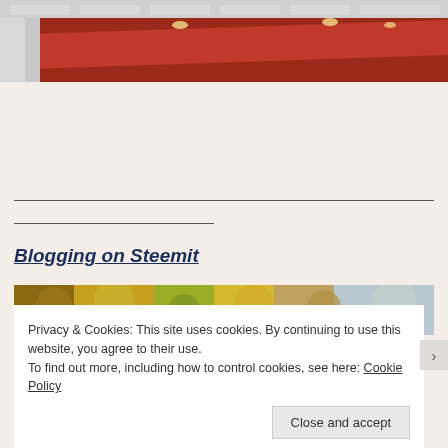[Figure (photo): Top portion of an interior building photo showing red and white ceiling/wall panels with overhead lighting]
[Figure (photo): Partial photo of autumn foliage/trees visible at the bottom of the page behind the cookie banner]
Blogging on Steemit
Privacy & Cookies: This site uses cookies. By continuing to use this website, you agree to their use.
To find out more, including how to control cookies, see here: Cookie Policy
Close and accept